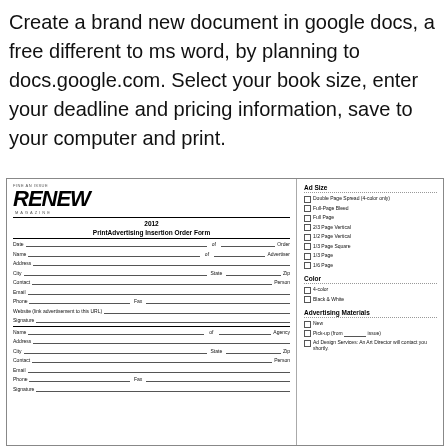Create a brand new document in google docs, a free different to ms word, by planning to docs.google.com. Select your book size, enter your deadline and pricing information, save to your computer and print.
[Figure (other): Renew Magazine 2012 Print Advertising Insertion Order Form with fields for Date, Name, Address, City, State, Zip, Contact, Email, Phone, Fax, Website, Signature, Agency fields, and Ad Size checkboxes (Double Page Spread, Full-Page Bleed, Full Page, 2/3 Page Vertical, 1/2 Page Vertical, 1/3 Page Square, 1/3 Page, 1/6 Page), Color checkboxes (4-color, Black & White), and Advertising Materials checkboxes (New, Pick-up, Ad Design Services).]